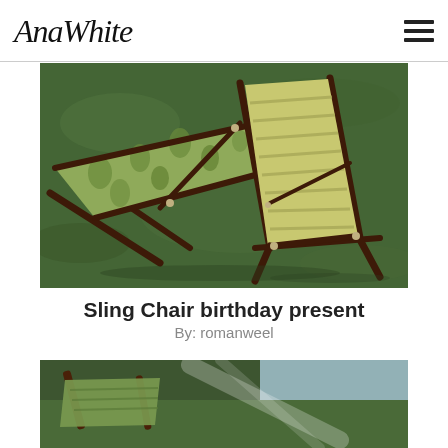AnaWhite
[Figure (photo): Two wooden sling chairs with green fabric on grass — one lying flat with floral fabric, one upright with striped fabric]
Sling Chair birthday present
By: romanweel
[Figure (photo): Partial view of another sling chair project outdoors, partially cropped at bottom of page]